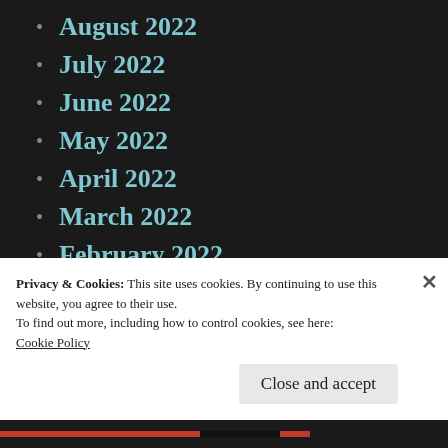August 2022
July 2022
June 2022
May 2022
April 2022
March 2022
February 2022
January 2022
December 2021
November 2021
October 2021
Privacy & Cookies: This site uses cookies. By continuing to use this website, you agree to their use.
To find out more, including how to control cookies, see here:
Cookie Policy
Close and accept